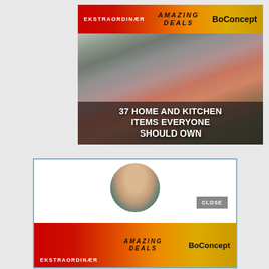[Figure (screenshot): Advertisement banner with red-to-amber gradient. Left: 'EKSTRAORDINÆR' in white bold. Center: 'AMAZING DEALS' in italic dark text. Right: 'BoConcept' bold logo. Below: photo of hands using a tomato kitchen slicer tool with herbs visible, overlaid with headline '37 HOME AND KITCHEN ITEMS EVERYONE SHOULD OWN' in bold white text on dark semi-transparent background.]
[Figure (screenshot): Popup overlay with blue border on white background. Shows partial face of person in a teal circular frame. 'CLOSE' button in grey box top right. Bottom portion shows same BoConcept advertisement banner: red-amber gradient with 'EKSTRAORDINÆR', 'AMAZING DEALS', and 'BoConcept' logo.]